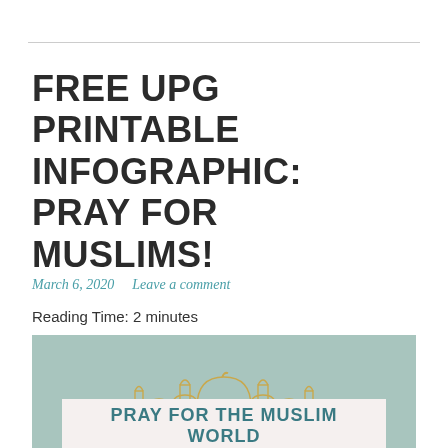FREE UPG PRINTABLE INFOGRAPHIC: PRAY FOR MUSLIMS!
March 6, 2020   Leave a comment
Reading Time: 2 minutes
[Figure (infographic): Infographic with teal/green background featuring a golden outline illustration of a mosque/Islamic building. A white banner at the bottom reads 'PRAY FOR THE MUSLIM WORLD' in teal bold uppercase letters.]